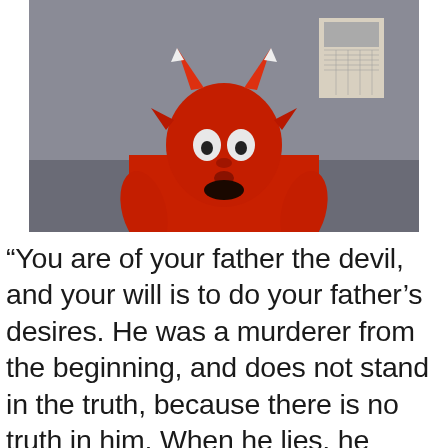[Figure (photo): A person dressed in a red devil costume with devil horns headpiece, red body suit, pointed ears, and white eyes, posed against a gray wall with a calendar or poster visible in the background.]
“You are of your father the devil, and your will is to do your father’s desires. He was a murderer from the beginning, and does not stand in the truth, because there is no truth in him. When he lies, he speaks out of his own character, for he is a